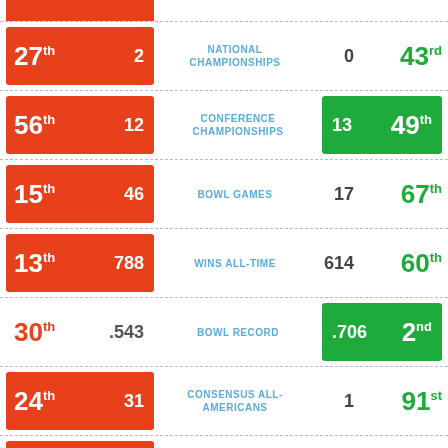| Rank (Left) | Value (Left) | Category | Value (Right) | Rank (Right) |
| --- | --- | --- | --- | --- |
| 27th | 2 | NATIONAL CHAMPIONSHIPS | 0 | 43rd |
| 56th | 12 | CONFERENCE CHAMPIONSHIPS | 13 | 49th |
| 15th | 46 | BOWL GAMES | 17 | 67th |
| 13th | 788 | WINS ALL-TIME | 614 | 60th |
| 30th | .543 | BOWL RECORD | .706 | 2nd |
| 24th | 31 | CONSENSUS ALL-AMERICANS | 1 | 91st |
| 6th | 3 | HEISMAN WINNERS | 0 | 38th |